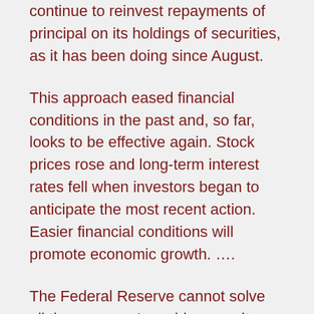continue to reinvest repayments of principal on its holdings of securities, as it has been doing since August.
This approach eased financial conditions in the past and, so far, looks to be effective again. Stock prices rose and long-term interest rates fell when investors began to anticipate the most recent action. Easier financial conditions will promote economic growth. ….
The Federal Reserve cannot solve all the economy's problems on its own. That will take time and the combined efforts of many parties, including the central bank, Congress, the administration, regulators and the private sector. But the Federal Reserve has a particular obligation to help promote